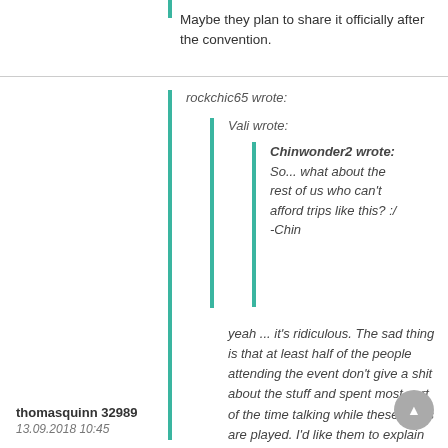Maybe they plan to share it officially after the convention.
rockchic65 wrote:
Vali wrote:
Chinwonder2 wrote: So... what about the rest of us who can't afford trips like this? :/ -Chin
yeah ... it's ridiculous. The sad thing is that at least half of the people attending the event don't give a shit about the stuff and spent most part of the time talking while these gems are played. I'd like them to explain the logic behind this. It's OK for some lucky
thomasquinn 32989
13.09.2018 10:45